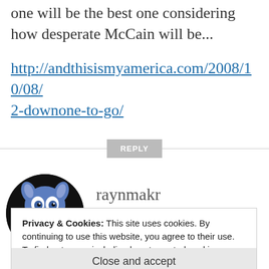one will be the best one considering how desperate McCain will be...
http://andthisismyamerica.com/2008/10/08/2-downone-to-go/
raynmakr
OCTOBER 8, 2008 AT 3:33 PM
Privacy & Cookies: This site uses cookies. By continuing to use this website, you agree to their use.
To find out more, including how to control cookies, see here: Cookie Policy
Close and accept